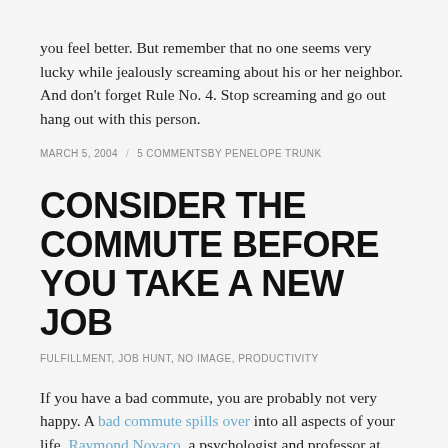you feel better. But remember that no one seems very lucky while jealously screaming about his or her neighbor. And don't forget Rule No. 4. Stop screaming and go out hang out with this person.
MARCH 5, 2004 / 5 COMMENTSBY PENELOPE TRUNK
CONSIDER THE COMMUTE BEFORE YOU TAKE A NEW JOB
FULFILLMENT, JOB HUNT, NO IMAGE, PRODUCTIVITY
If you have a bad commute, you are probably not very happy. A bad commute spills over into all aspects of your life. Raymond Novaco, a psychologist and professor at